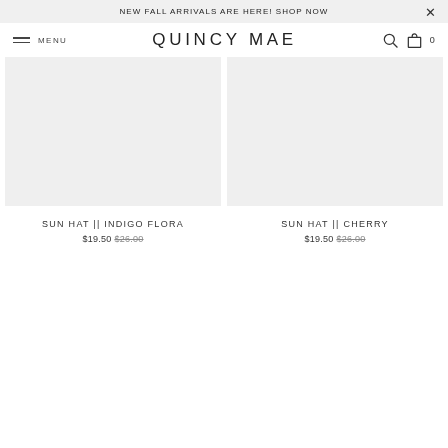NEW FALL ARRIVALS ARE HERE! SHOP NOW ×
≡ MENU   QUINCY MAE   🔍 🛍 0
[Figure (photo): Product image placeholder for Sun Hat in Indigo Flora, light gray background]
SUN HAT || INDIGO FLORA
$19.50 $26.00
[Figure (photo): Product image placeholder for Sun Hat in Cherry, light gray background]
SUN HAT || CHERRY
$19.50 $26.00